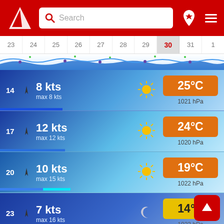[Figure (screenshot): Red app header with logo, search bar, location pin icon, and hamburger menu]
[Figure (screenshot): Calendar date strip showing dates 23-1, with date 30 highlighted in red on grey background, and wind/wave chart below]
14  8 kts  max 8 kts  25°C  1021 hPa
17  12 kts  max 12 kts  24°C  1020 hPa
20  10 kts  max 15 kts  19°C  1022 hPa
23  7 kts  max 16 kts  14°C  1023 hPa
Wednesday, Aug 31
Wind  Weather